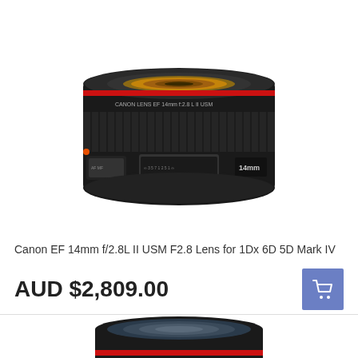[Figure (photo): Canon EF 14mm f/2.8L II USM lens viewed from front/top angle, black lens with red ring and focus distance window]
Canon EF 14mm f/2.8L II USM F2.8 Lens for 1Dx 6D 5D Mark IV
AUD $2,809.00
[Figure (photo): Canon EF lens viewed from front, showing red ring detail, partially cropped at bottom of page]